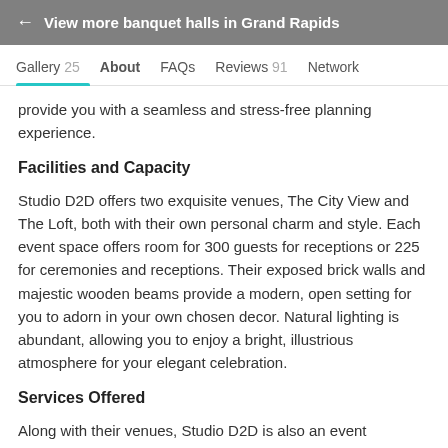← View more banquet halls in Grand Rapids
Gallery 25   About   FAQs   Reviews 91   Network
provide you with a seamless and stress-free planning experience.
Facilities and Capacity
Studio D2D offers two exquisite venues, The City View and The Loft, both with their own personal charm and style. Each event space offers room for 300 guests for receptions or 225 for ceremonies and receptions. Their exposed brick walls and majestic wooden beams provide a modern, open setting for you to adorn in your own chosen decor. Natural lighting is abundant, allowing you to enjoy a bright, illustrious atmosphere for your elegant celebration.
Services Offered
Along with their venues, Studio D2D is also an event